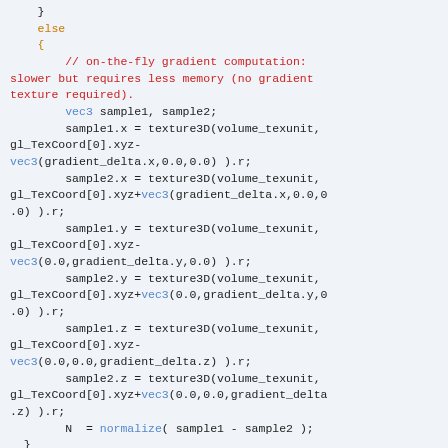} else { // on-the-fly gradient computation: slower but requires less memory (no gradient texture required). vec3 sample1, sample2; sample1.x = texture3D(volume_texunit, gl_TexCoord[0].xyz-vec3(gradient_delta.x,0.0,0.0) ).r; sample2.x = texture3D(volume_texunit, gl_TexCoord[0].xyz+vec3(gradient_delta.x,0.0,0.0) ).r; sample1.y = texture3D(volume_texunit, gl_TexCoord[0].xyz-vec3(0.0,gradient_delta.y,0.0) ).r; sample2.y = texture3D(volume_texunit, gl_TexCoord[0].xyz+vec3(0.0,gradient_delta.y,0.0) ).r; sample1.z = texture3D(volume_texunit, gl_TexCoord[0].xyz-vec3(0.0,0.0,gradient_delta.z) ).r; sample2.z = texture3D(volume_texunit, gl_TexCoord[0].xyz+vec3(0.0,0.0,gradient_delta.z) ).r; N  = normalize( sample1 - sample2 ); } vec3 V  = normalize(eye_position - frag_position); for(int i=0; i<4; ++i) { if (light_enable[i]) { vec3 L = normalize(light_position[i...